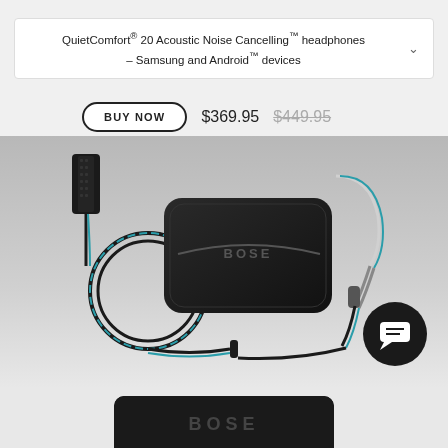QuietComfort® 20 Acoustic Noise Cancelling™ headphones – Samsung and Android™ devices
[Figure (screenshot): Product page screenshot showing BUY NOW button with price $369.95 and crossed-out $449.95, plus product image of Bose QuietComfort 20 headphones with carrying case and cable]
BUY NOW  $369.95  $449.95